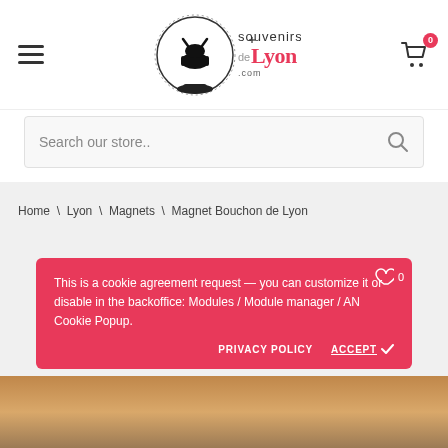[Figure (logo): Souvenirs de Lyon .com logo with snow globe and bull/animal silhouette]
Search our store..
Home \ Lyon \ Magnets \ Magnet Bouchon de Lyon
This is a cookie agreement request — you can customize it or disable in the backoffice: Modules / Module manager / AN Cookie Popup.
PRIVACY POLICY
ACCEPT ✓